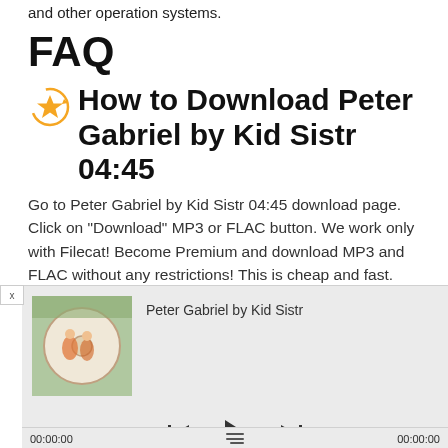and other operation systems.
FAQ
⭐ How to Download Peter Gabriel by Kid Sistr 04:45
Go to Peter Gabriel by Kid Sistr 04:45 download page. Click on "Download" MP3 or FLAC button. We work only with Filecat! Become Premium and download MP3 and FLAC without any restrictions! This is cheap and fast.
[Figure (screenshot): Music player widget showing album art for Peter Gabriel by Kid Sistr, with playback controls (previous, play, next), track name, and time display showing 00:00:00 on both sides with a menu icon.]